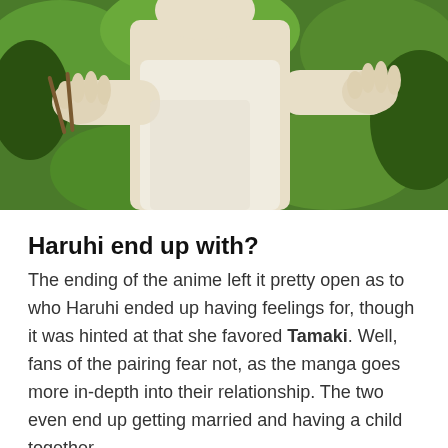[Figure (illustration): Anime-style illustration showing hands and a figure with green foliage background]
Haruhi end up with?
The ending of the anime left it pretty open as to who Haruhi ended up having feelings for, though it was hinted at that she favored Tamaki. Well, fans of the pairing fear not, as the manga goes more in-depth into their relationship. The two even end up getting married and having a child together.
Who dies in Ouran High School?
Kotoko passed away when Haruhi was only five years old